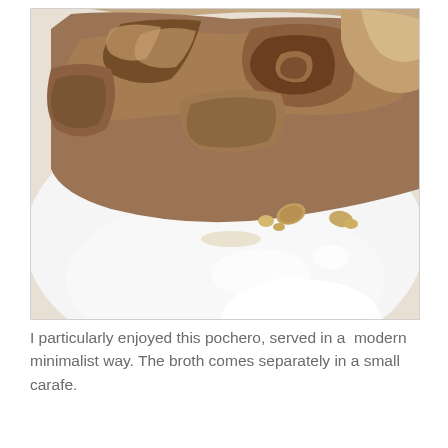[Figure (photo): Close-up photo of pochero (braised meat dish) served on a white plate in a minimalist style. The meat appears slow-cooked and browned, with small pieces of caramelized onion or garlic scattered on the white plate.]
I particularly enjoyed this pochero, served in a  modern minimalist way. The broth comes separately in a small carafe.